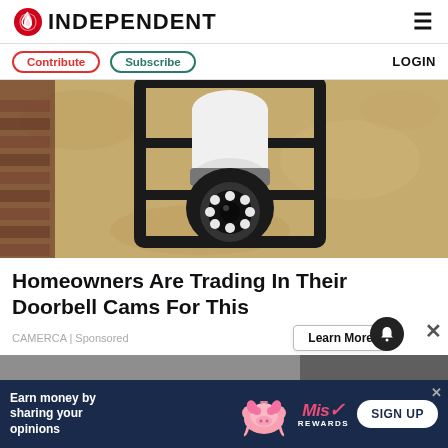INDEPENDENT
Contribute | Subscribe | LOGIN
[Figure (photo): A security camera shaped like a light bulb installed inside a black lantern-style outdoor light fixture mounted on a textured beige stucco wall with brick visible on the left.]
Homeowners Are Trading In Their Doorbell Cams For This
CAMERCA | Sponsored
Learn More
[Figure (photo): Partial view of a second article image strip at the bottom, mostly gray/dark.]
Earn money by sharing your opinions